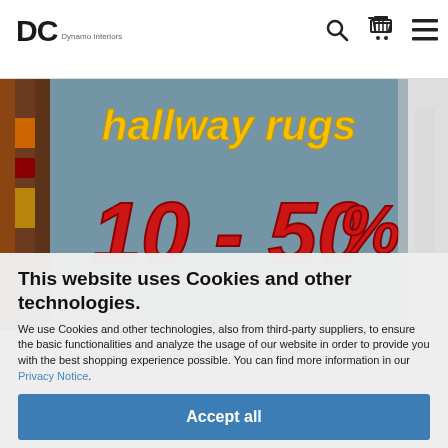DC [logo] [search icon] [cart icon] [menu icon]
[Figure (photo): Banner image showing hallway rugs promotion with text 'hallway rugs' in yellow and '10 - 50%' in red on a textured background]
This website uses Cookies and other technologies.
We use Cookies and other technologies, also from third-party suppliers, to ensure the basic functionalities and analyze the usage of our website in order to provide you with the best shopping experience possible. You can find more information in our Privacy Notice.
Accept all
More information